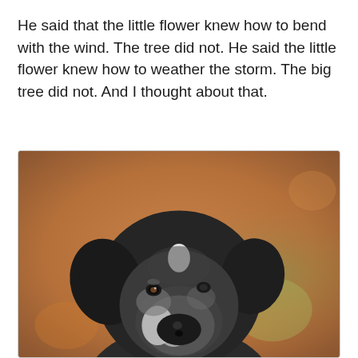He said that the little flower knew how to bend with the wind. The tree did not. He said the little flower knew how to weather the storm. The big tree did not. And I thought about that.
[Figure (photo): Close-up photograph of an older dog with a black and grey muzzle, white markings on the forehead and snout, floppy ears, looking directly at the camera with a calm, thoughtful expression. Background is blurred warm orange/brown tones suggesting an outdoor autumn setting.]